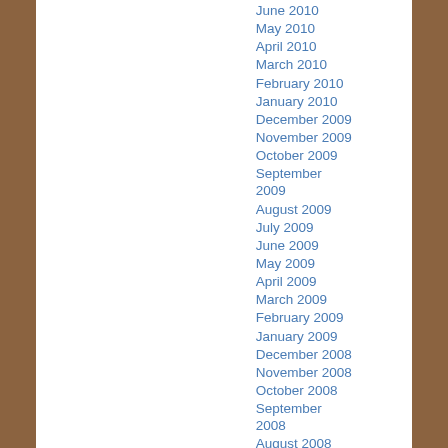June 2010
May 2010
April 2010
March 2010
February 2010
January 2010
December 2009
November 2009
October 2009
September 2009
August 2009
July 2009
June 2009
May 2009
April 2009
March 2009
February 2009
January 2009
December 2008
November 2008
October 2008
September 2008
August 2008
July 2008
June 2008
May 2008
April 2008
March 2008
February 2008
January 2008
December 2007